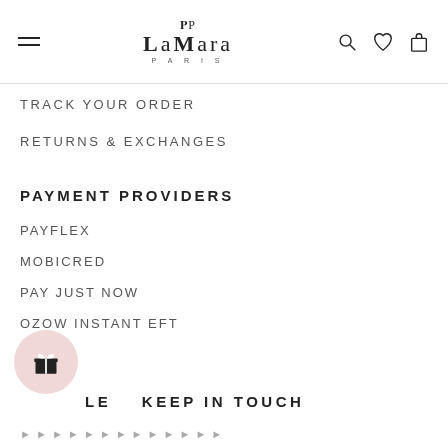LaMara Paris — navigation header with hamburger menu, logo, search, heart, and bag icons
TRACK YOUR ORDER
RETURNS & EXCHANGES
PAYMENT PROVIDERS
PAYFLEX
MOBICRED
PAY JUST NOW
OZOW INSTANT EFT
[Figure (illustration): Pink circular gift/reward button with gift box icon]
LET'S KEEP IN TOUCH